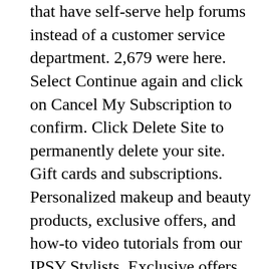that have self-serve help forums instead of a customer service department. 2,679 were here. Select Continue again and click on Cancel My Subscription to confirm. Click Delete Site to permanently delete your site. Gift cards and subscriptions. Personalized makeup and beauty products, exclusive offers, and how-to video tutorials from our IPSY Stylists. Exclusive offers and IPSY expert content. Search Domain. Providing as much detail about your request as possible encourages the right, quality pros to contact you quickly about your requirements. Keyword Suggestions. https://www.birchbox.com/about/terms-conditions,